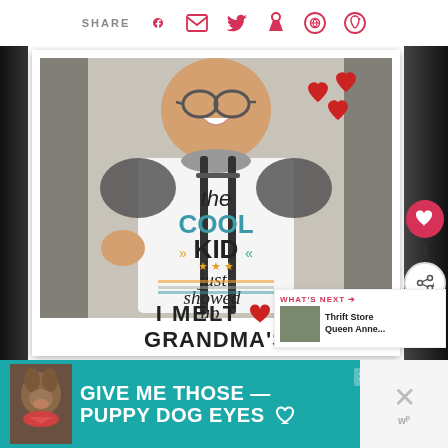SHARE
[Figure (photo): Polaroid-style photo of a young smiling boy wearing glasses, a raglan baseball tee reading 'The COOL KID just showed up' with suspenders, surrounded by red heart decorations. Below the photo inside the Polaroid frame: 'I MELT [heart] GRANDMA'S']
I MELT ♥ GRANDMA'S
WHAT'S NEXT → Thrift Store Queen Anne...
GIVE ME THOSE PUPPY DOG EYES